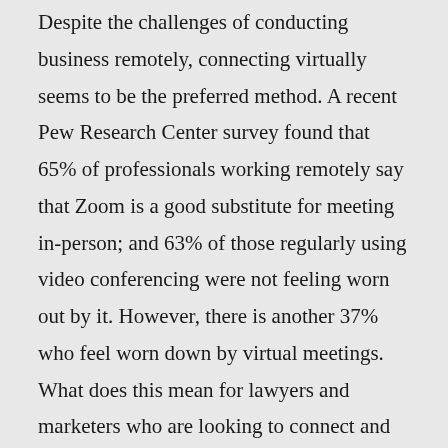Despite the challenges of conducting business remotely, connecting virtually seems to be the preferred method. A recent Pew Research Center survey found that 65% of professionals working remotely say that Zoom is a good substitute for meeting in-person; and 63% of those regularly using video conferencing were not feeling worn out by it. However, there is another 37% who feel worn down by virtual meetings. What does this mean for lawyers and marketers who are looking to connect and